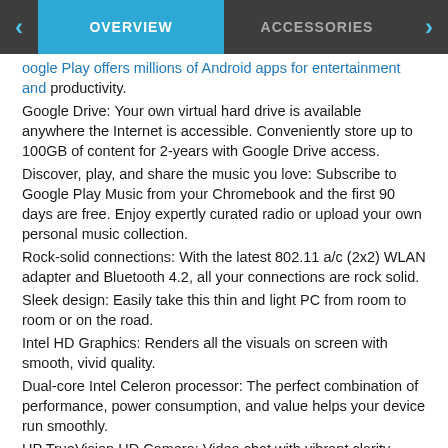OVERVIEW | ACCESSORIES
Google Play offers millions of Android apps for entertainment and productivity.
Google Drive: Your own virtual hard drive is available anywhere the Internet is accessible. Conveniently store up to 100GB of content for 2-years with Google Drive access.
Discover, play, and share the music you love: Subscribe to Google Play Music from your Chromebook and the first 90 days are free. Enjoy expertly curated radio or upload your own personal music collection.
Rock-solid connections: With the latest 802.11 a/c (2x2) WLAN adapter and Bluetooth 4.2, all your connections are rock solid.
Sleek design: Easily take this thin and light PC from room to room or on the road.
Intel HD Graphics: Renders all the visuals on screen with smooth, vivid quality.
Dual-core Intel Celeron processor: The perfect combination of performance, power consumption, and value helps your device run smoothly.
HP TrueVision HD Camera: Video chat with vibrant clarity, even in low light.
Energy Efficiency Your Way
HP is committed to global citizenship and environmental responsibility. Do the environment - and your wallet - a favor when you use the HP